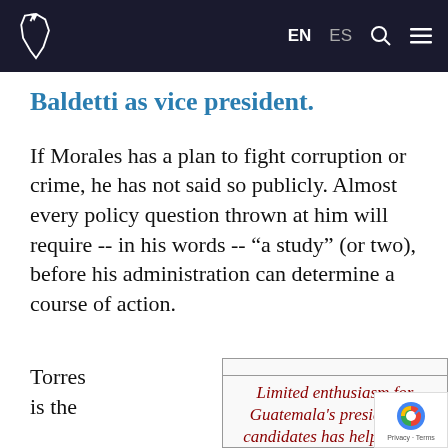EN ES [search] [menu]
Baldetti as vice president.
If Morales has a plan to fight corruption or crime, he has not said so publicly. Almost every policy question thrown at him will require -- in his words -- “a study” (or two), before his administration can determine a course of action.
Torres is the
Limited enthusiasm for Guatemala's presidential candidates has helped mak